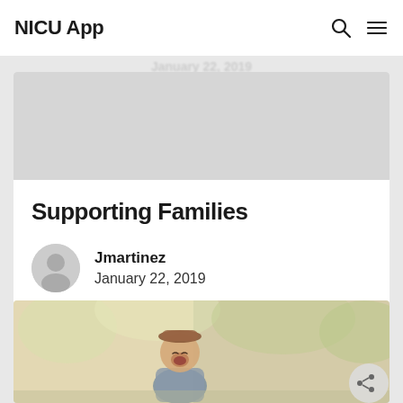NICU App
Supporting Families
Jmartinez
January 22, 2019
[Figure (photo): Young toddler boy wearing a hat, laughing outdoors with blurred green trees in background]